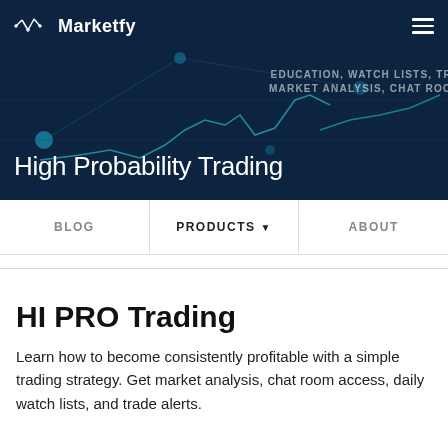Marketfy
[Figure (screenshot): Dark navy hero banner with financial chart line art, glowing dot nodes, and grid lines in the background]
High Probability Trading
EDUCATION, WATCH LISTS, TR MARKET ANALYSIS, CHAT ROO
BLOG   PRODUCTS ▼   ABOUT
HI PRO Trading
Learn how to become consistently profitable with a simple trading strategy. Get market analysis, chat room access, daily watch lists, and trade alerts.